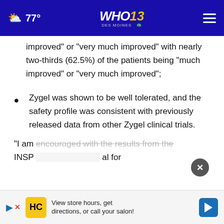77° | WHO 13 Des Moines NBC
improved” or “very much improved” with nearly two-thirds (62.5%) of the patients being “much improved” or “very much improved”;
Zygel was shown to be well tolerated, and the safety profile was consistent with previously released data from other Zygel clinical trials.
“I am encouraged with the results from the INSP… al for